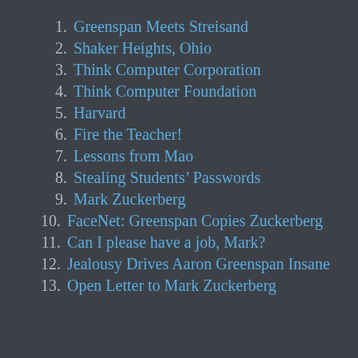1. Greenspan Meets Streisand
2. Shaker Heights, Ohio
3. Think Computer Corporation
4. Think Computer Foundation
5. Harvard
6. Fire the Teacher!
7. Lessons from Mao
8. Stealing Students' Passwords
9. Mark Zuckerberg
10. FaceNet: Greenspan Copies Zuckerberg
11. Can I please have a job, Mark?
12. Jealousy Drives Aaron Greenspan Insane
13. Open Letter to Mark Zuckerberg